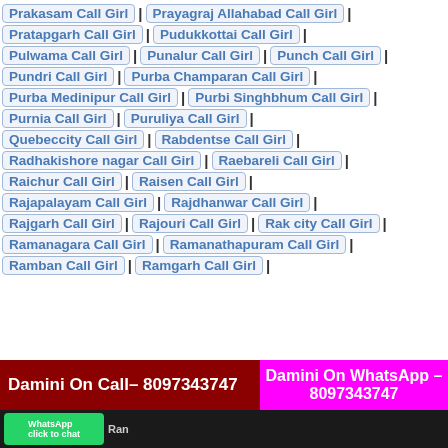Prakasam Call Girl | Prayagraj Allahabad Call Girl |
Pratapgarh Call Girl | Pudukkottai Call Girl |
Pulwama Call Girl | Punalur Call Girl | Punch Call Girl |
Pundri Call Girl | Purba Champaran Call Girl |
Purba Medinipur Call Girl | Purbi Singhbhum Call Girl |
Purnia Call Girl | Puruliya Call Girl |
Quebeccity Call Girl | Rabdentse Call Girl |
Radhakishore nagar Call Girl | Raebareli Call Girl |
Raichur Call Girl | Raisen Call Girl |
Rajapalayam Call Girl | Rajdhanwar Call Girl |
Rajgarh Call Girl | Rajouri Call Girl | Rak city Call Girl |
Ramanagara Call Girl | Ramanathapuram Call Girl |
Ramban Call Girl | Ramgarh Call Girl |
Damini On Call– 8097343747
Damini On WhatsApp – 8097343747